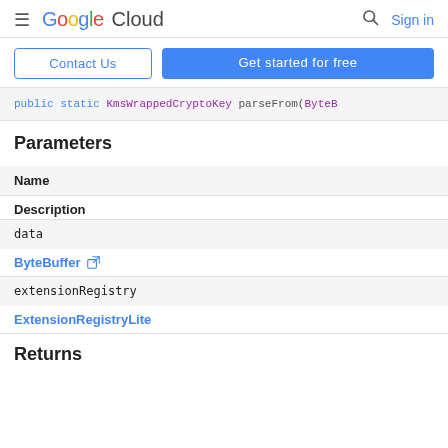Google Cloud — Sign in
Contact Us | Get started for free
public static KmsWrappedCryptoKey parseFrom(ByteB
Parameters
| Name | Description |
| --- | --- |
| data | ByteBuffer ↗ |
| extensionRegistry | ExtensionRegistryLite |
Returns